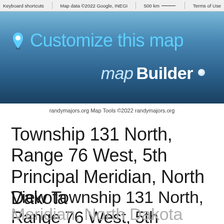Keyboard shortcuts | Map data ©2022 Google, INEGI | 500 km | Terms of Use
[Figure (screenshot): Google Maps-style banner with 'Customize this map' heading and mapBuilder branding on a blue gradient background]
randymajors.org Map Tools ©2022 randymajors.org
Township 131 North, Range 76 West, 5th Principal Meridian, North Dakota
View Township 131 North, Range 76 West, 5th Principal Meridian, North Dakota Section Township Range